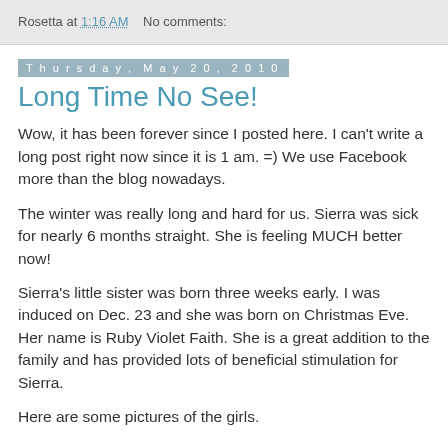Rosetta at 1:16 AM    No comments:
Thursday, May 20, 2010
Long Time No See!
Wow, it has been forever since I posted here. I can't write a long post right now since it is 1 am. =) We use Facebook more than the blog nowadays.
The winter was really long and hard for us. Sierra was sick for nearly 6 months straight. She is feeling MUCH better now!
Sierra's little sister was born three weeks early. I was induced on Dec. 23 and she was born on Christmas Eve. Her name is Ruby Violet Faith. She is a great addition to the family and has provided lots of beneficial stimulation for Sierra.
Here are some pictures of the girls.